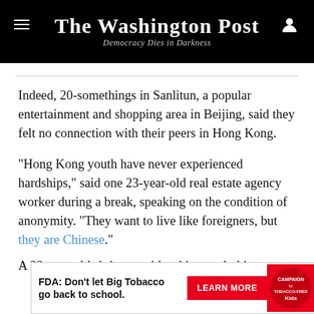The Washington Post — Democracy Dies in Darkness
Indeed, 20-somethings in Sanlitun, a popular entertainment and shopping area in Beijing, said they felt no connection with their peers in Hong Kong.
“Hong Kong youth have never experienced hardships,” said one 23-year-old real estate agency worker during a break, speaking on the condition of anonymity. “They want to live like foreigners, but they are Chinese.”
A 22-year-old sitting outside a hipster clothing store
[Figure (other): FDA advertisement banner: 'FDA: Don’t let Big Tobacco go back to school.' with a red LEARN MORE button and Campaign for Tobacco-Free Kids logo]